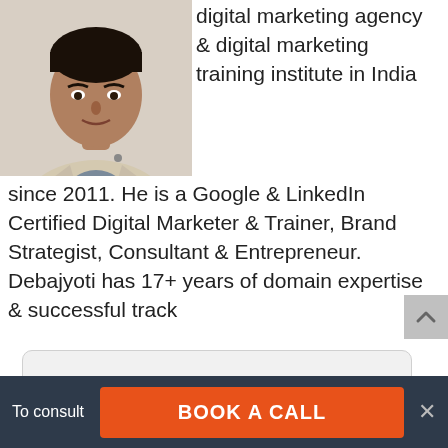[Figure (photo): Portrait photo of a man in a light beige blazer, partially visible (head and upper torso), cropped at the left side of the page]
digital marketing agency & digital marketing training institute in India since 2011. He is a Google & LinkedIn Certified Digital Marketer & Trainer, Brand Strategist, Consultant & Entrepreneur. Debajyoti has 17+ years of domain expertise & successful track
This website uses cookies to ensure you get the best experience on our website. Learn more
Got it!
To consult
BOOK A CALL